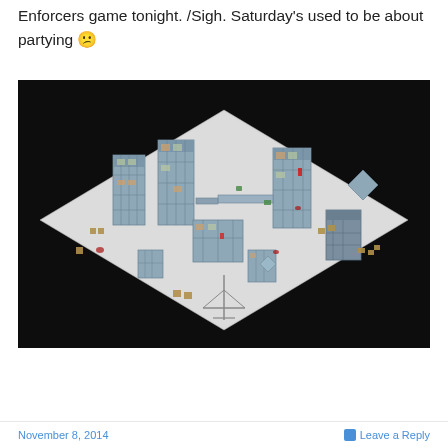Enforcers game tonight. /Sigh. Saturday's used to be about partying 😕
[Figure (photo): Aerial/isometric view of a detailed miniature wargame board with sci-fi/industrial buildings made of blue-grey material, set on a white/light grey mat, shot against a black background. Multiple multi-story structures with open framework walls, walkways, and scattered small tokens/markers visible across the board.]
November 8, 2014    Leave a Reply